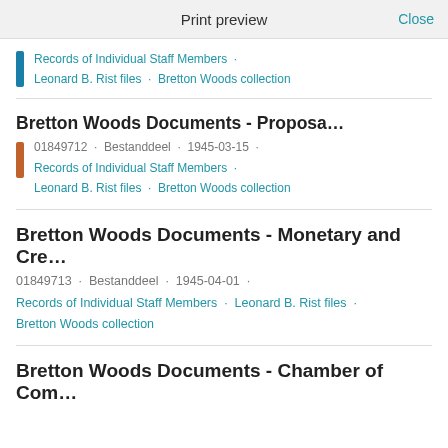Print preview   Close
Records of Individual Staff Members · Leonard B. Rist files · Bretton Woods collection
Bretton Woods Documents - Proposa…
01849712 · Bestanddeel · 1945-03-15 · Records of Individual Staff Members · Leonard B. Rist files · Bretton Woods collection
Bretton Woods Documents - Monetary and Cre…
01849713 · Bestanddeel · 1945-04-01 · Records of Individual Staff Members · Leonard B. Rist files · Bretton Woods collection
Bretton Woods Documents - Chamber of Com…